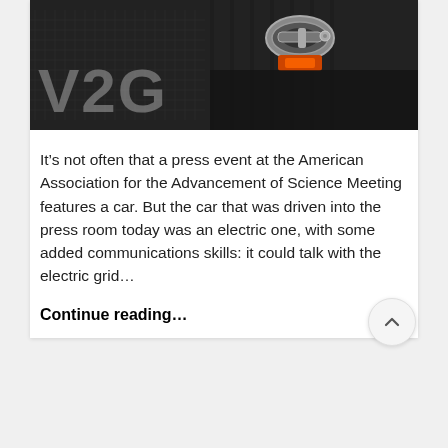[Figure (photo): Photo of an electric vehicle charging connector with a V2G (Vehicle-to-Grid) watermark text overlay on a dark background]
It’s not often that a press event at the American Association for the Advancement of Science Meeting features a car. But the car that was driven into the press room today was an electric one, with some added communications skills: it could talk with the electric grid…
Continue reading…